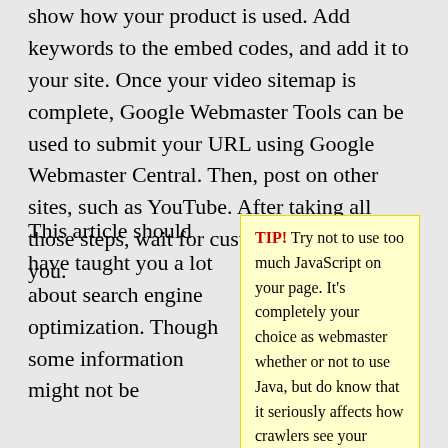show how your product is used. Add keywords to the embed codes, and add it to your site. Once your video sitemap is complete, Google Webmaster Tools can be used to submit your URL using Google Webmaster Central. Then, post on other sites, such as YouTube. After taking all those steps, wait for customers to contact you.
This article should have taught you a lot about search engine optimization. Though some information might not be
TIP! Try not to use too much JavaScript on your page. It's completely your choice as webmaster whether or not to use Java, but do know that it seriously affects how crawlers see your website.